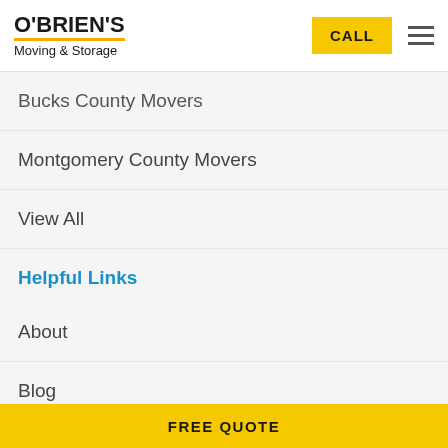[Figure (logo): O'BRIEN'S Moving & Storage logo with orange underline, yellow CALL button, and hamburger menu icon]
Bucks County Movers
Montgomery County Movers
View All
Helpful Links
About
Blog
Careers
Contact Us
Reviews
FREE QUOTE